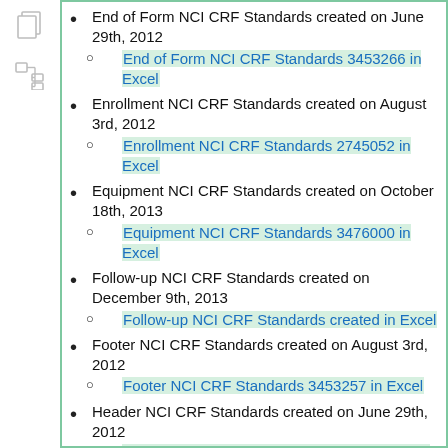End of Form NCI CRF Standards created on June 29th, 2012
End of Form NCI CRF Standards 3453266 in Excel
Enrollment NCI CRF Standards created on August 3rd, 2012
Enrollment NCI CRF Standards 2745052 in Excel
Equipment NCI CRF Standards created on October 18th, 2013
Equipment NCI CRF Standards 3476000 in Excel
Follow-up NCI CRF Standards created on December 9th, 2013
Follow-up NCI CRF Standards created in Excel
Footer NCI CRF Standards created on August 3rd, 2012
Footer NCI CRF Standards 3453257 in Excel
Header NCI CRF Standards created on June 29th, 2012
Header NCI CRF Standards 2960795 in Excel
Image Administration NCI CRF Standards